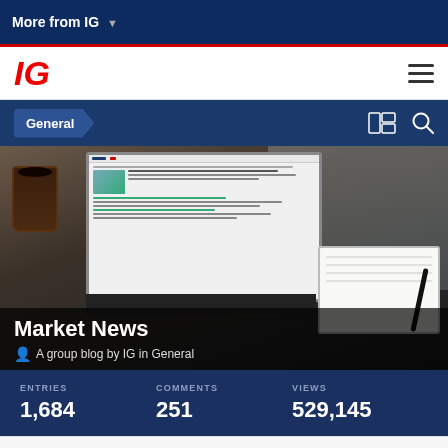More from IG
[Figure (logo): IG logo in red italic bold text]
General
[Figure (photo): Hero image showing a laptop with market news website, coffee cup, notebook and pen on a desk. Overlay text reads 'Market News' and 'A group blog by IG in General']
ENTRIES
1,684
COMMENTS
251
VIEWS
529,145
ABOUT THIS BLOG